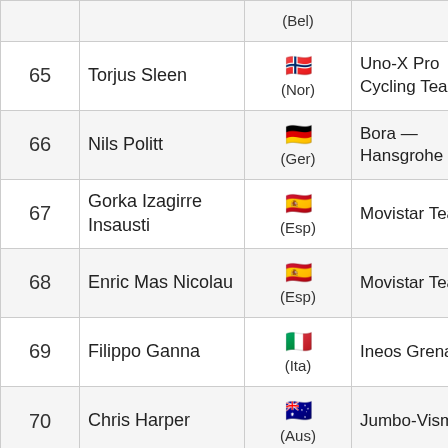| # | Name | Country | Team | Time |
| --- | --- | --- | --- | --- |
|  |  | (Bel) |  |  |
| 65 | Torjus Sleen | (Nor) | Uno-X Pro Cycling Team |  |
| 66 | Nils Politt | (Ger) | Bora — Hansgrohe |  |
| 67 | Gorka Izagirre Insausti | (Esp) | Movistar Team | +16:38 |
| 68 | Enric Mas Nicolau | (Esp) | Movistar Team |  |
| 69 | Filippo Ganna | (Ita) | Ineos Grenadiers |  |
| 70 | Chris Harper | (Aus) | Jumbo-Visma | +18:13 |
| 71 | Franck | (Fra) | B&B Hotels |  |